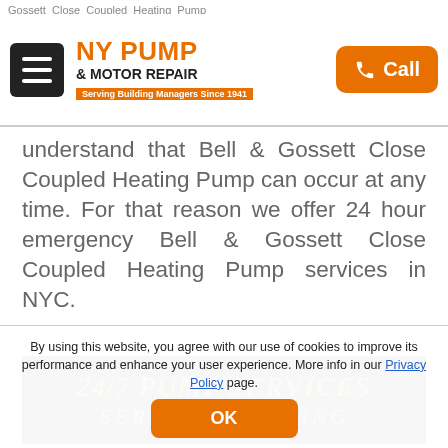Gossett Close Coupled Heating Pump
[Figure (logo): NY Pump & Motor Repair logo with hamburger menu and orange Call button]
understand that Bell & Gossett Close Coupled Heating Pump can occur at any time. For that reason we offer 24 hour emergency Bell & Gossett Close Coupled Heating Pump services in NYC.
[Figure (other): Dark banner reading '24/7 PUMP SERVICES' and 'SERVING BUILDING' in gold italic text on black background]
By using this website, you agree with our use of cookies to improve its performance and enhance your user experience. More info in our Privacy Policy page.